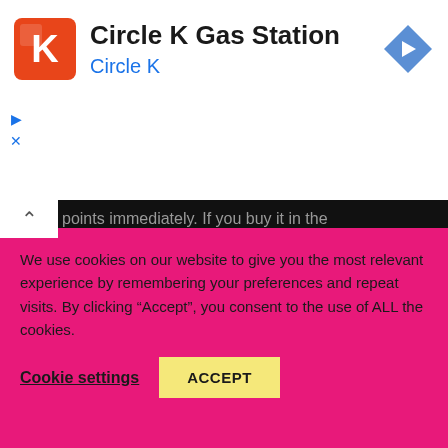[Figure (logo): Circle K Gas Station Google Maps ad banner with Circle K logo, navigation arrow icon, and ad controls]
points immediately. If you buy it in the birthday month, the points for purchasing the same price can be doubled to 449 points.
Member trust bonds have long-term value
We use cookies on our website to give you the most relevant experience by remembering your preferences and repeat visits. By clicking “Accept”, you consent to the use of ALL the cookies.
Cookie settings
ACCEPT